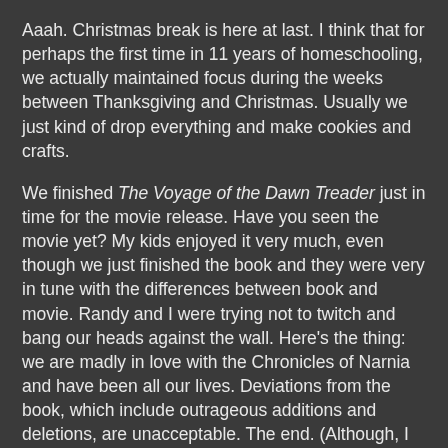Aaah. Christmas break is here at last. I think that for perhaps the first time in 11 years of homeschooling, we actually maintained focus during the weeks between Thanksgiving and Christmas. Usually we just kind of drop everything and make cookies and crafts.
We finished The Voyage of the Dawn Treader just in time for the movie release. Have you seen the movie yet? My kids enjoyed it very much, even though we just finished the book and they were very in tune with the differences between book and movie. Randy and I were trying not to twitch and bang our heads against the wall. Here's the thing: we are madly in love with the Chronicles of Narnia and have been all our lives. Deviations from the book, which include outrageous additions and deletions, are unacceptable. The end. (Although, I will say that I continue to think that the actors portraying Lucy and Edmund and in this one, Eustace, are well chosen.)
Besides all our regular stuff, we spent last week reading Christmas stories. We read The Best Christmas Pageant Ever and then several short stories in an anthology that I